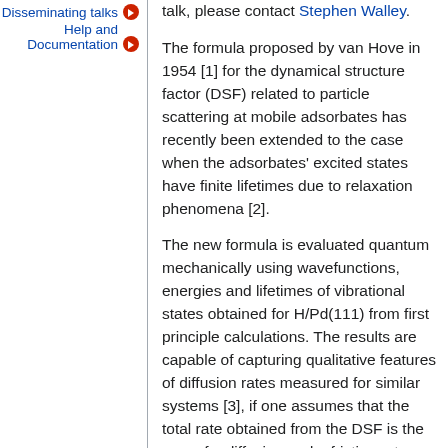Disseminating talks
Help and Documentation
talk, please contact Stephen Walley.
The formula proposed by van Hove in 1954 [1] for the dynamical structure factor (DSF) related to particle scattering at mobile adsorbates has recently been extended to the case when the adsorbates' excited states have finite lifetimes due to relaxation phenomena [2].
The new formula is evaluated quantum mechanically using wavefunctions, energies and lifetimes of vibrational states obtained for H/Pd(111) from first principle calculations. The results are capable of capturing qualitative features of diffusion rates measured for similar systems [3], if one assumes that the total rate obtained from the DSF is the sum of a diffusion and a friction rate.
In this talk, I present the new